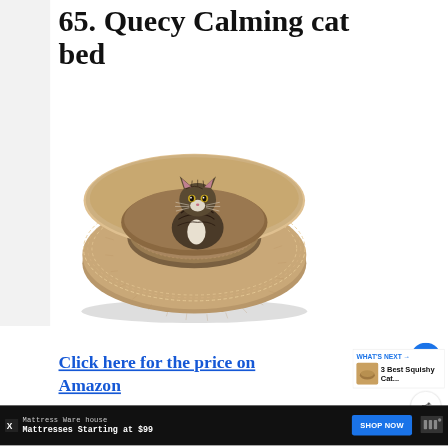65. Quecy Calming cat bed
[Figure (photo): A fluffy beige/tan donut-shaped calming cat bed with a tabby cat sitting inside it, looking at the camera. The bed has long shaggy fur-like texture.]
Click here for the price on Amazon
[Figure (photo): Small thumbnail image of a squishy cat bed, next to 'WHAT'S NEXT' label and '3 Best Squishy Cat...' text]
Mattress Warehouse
Mattresses Starting at $99
SHOP NOW